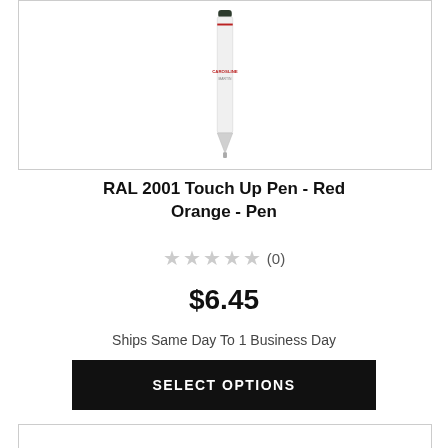[Figure (photo): A white touch-up paint pen with a dark cap and red label text, shown vertically centered in a bordered white box.]
RAL 2001 Touch Up Pen - Red Orange - Pen
★★★★★ (0)
$6.45
Ships Same Day To 1 Business Day
SELECT OPTIONS
[Figure (photo): Bottom of next product card, partially visible.]